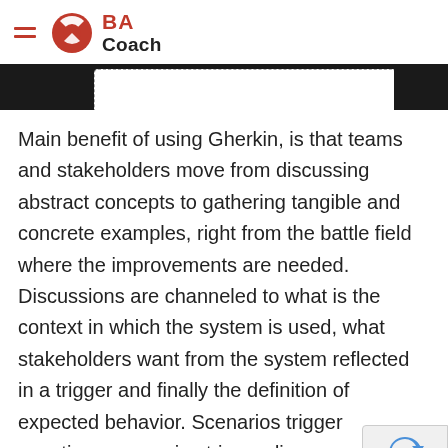BA Coach
[Figure (other): Dark browser tab bar with active white tab in the center, dark blocks on left and right ends]
Main benefit of using Gherkin, is that teams and stakeholders move from discussing abstract concepts to gathering tangible and concrete examples, right from the battle field where the improvements are needed. Discussions are channeled to what is the context in which the system is used, what stakeholders want from the system reflected in a trigger and finally the definition of expected behavior. Scenarios trigger questions; scenarios trigger discovery of new